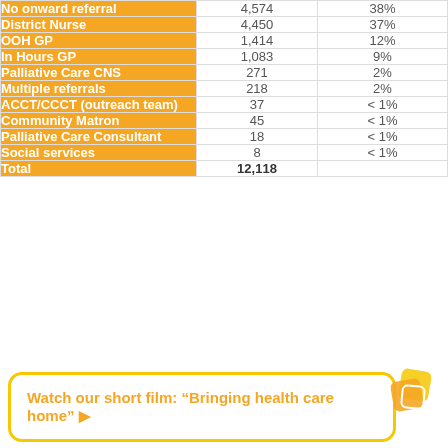|  | Number | Percentage |
| --- | --- | --- |
| No onward referral | 4,574 | 38% |
| District Nurse | 4,450 | 37% |
| OOH GP | 1,414 | 12% |
| In Hours GP | 1,083 | 9% |
| Palliative Care CNS | 271 | 2% |
| Multiple referrals | 218 | 2% |
| ACCT/CCCT (outreach team) | 37 | < 1% |
| Community Matron | 45 | < 1% |
| Palliative Care Consultant | 18 | < 1% |
| Social services | 8 | < 1% |
| Total | 12,118 |  |
Watch our short film: “Bringing health care home”